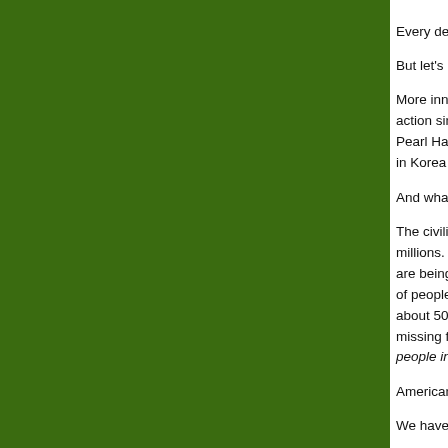[Figure (other): Large dark green rectangular panel occupying the left ~87% of the page]
Every death is a tra

But let's have a litt

More innocent civili action since then. Pearl Harbor. We l in Korea and Vietna

And what about the

The civilian casualt millions. Millions m are being measure of people no longe about 50,000,000. missing from World people in Afghanis

American casualtie

We have redefined.

What the League o World War II, Amer

So today, Veterans